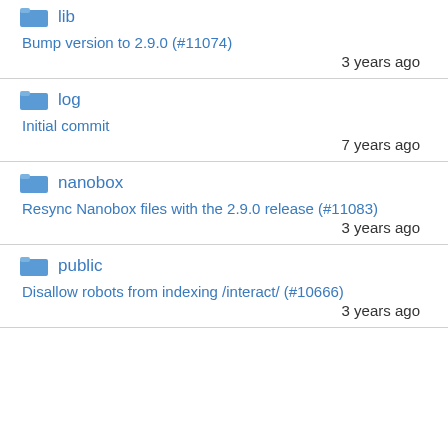lib — Bump version to 2.9.0 (#11074) — 3 years ago
log — Initial commit — 7 years ago
nanobox — Resync Nanobox files with the 2.9.0 release (#11083) — 3 years ago
public — Disallow robots from indexing /interact/ (#10666) — 3 years ago